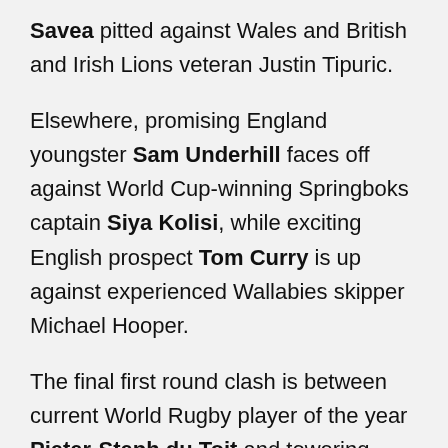Savea pitted against Wales and British and Irish Lions veteran Justin Tipuric.
Elsewhere, promising England youngster Sam Underhill faces off against World Cup-winning Springboks captain Siya Kolisi, while exciting English prospect Tom Curry is up against experienced Wallabies skipper Michael Hooper.
The final first round clash is between current World Rugby player of the year Pieter-Steph du Toit and towering French loose forward Charles Ollivon.
To have your say, click the stories on either the RugbyPass Facebook page (here) or